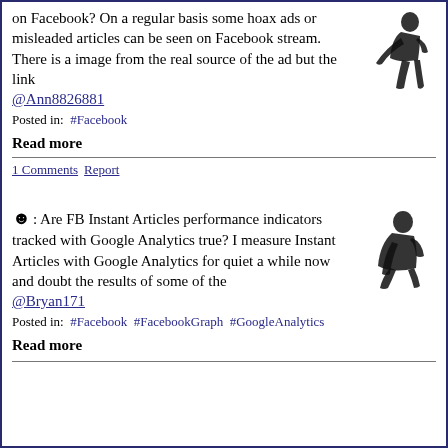on Facebook? On a regular basis some hoax ads or misleaded articles can be seen on Facebook stream. There is a image from the real source of the ad but the link
@Ann8826881
Posted in: #Facebook
Read more
1 Comments Report
©: Are FB Instant Articles performance indicators tracked with Google Analytics true? I measure Instant Articles with Google Analytics for quiet a while now and doubt the results of some of the
@Bryan171
Posted in: #Facebook #FacebookGraph #GoogleAnalytics
Read more